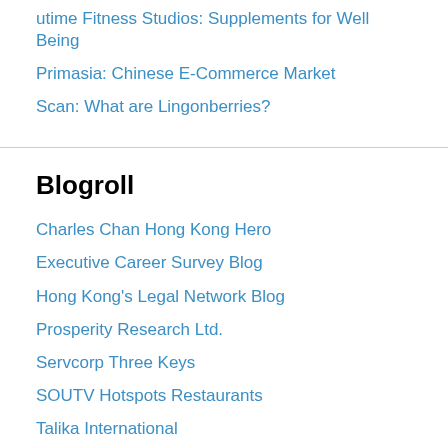utime Fitness Studios: Supplements for Well Being
Primasia: Chinese E-Commerce Market
Scan: What are Lingonberries?
Blogroll
Charles Chan Hong Kong Hero
Executive Career Survey Blog
Hong Kong's Legal Network Blog
Prosperity Research Ltd.
Servcorp Three Keys
SOUTV Hotspots Restaurants
Talika International
Favorite Links
Asia 2 Extreme Sports
Cosman Blog: HKBBA Doctor